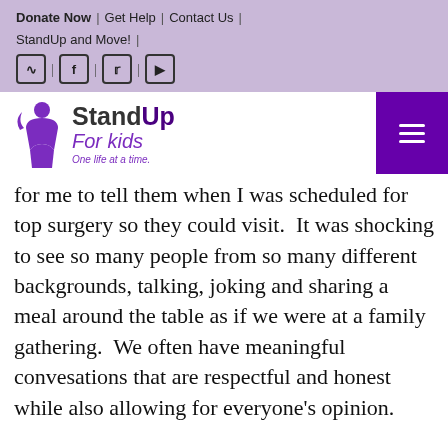Donate Now | Get Help | Contact Us | StandUp and Move! |
[Figure (logo): StandUp For Kids logo with icon and tagline 'One life at a time.']
for me to tell them when I was scheduled for top surgery so they could visit.  It was shocking to see so many people from so many different backgrounds, talking, joking and sharing a meal around the table as if we were at a family gathering.  We often have meaningful convesations that are respectful and honest while also allowing for everyone's opinion.